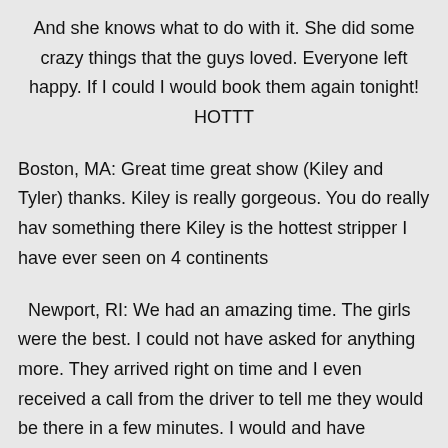And she knows what to do with it. She did some crazy things that the guys loved. Everyone left happy. If I could I would book them again tonight! HOTTT
Boston, MA: Great time great show (Kiley and Tyler) thanks. Kiley is really gorgeous. You do really hav something there Kiley is the hottest stripper I have ever seen on 4 continents
Newport, RI: We had an amazing time. The girls were the best. I could not have asked for anything more. They arrived right on time and I even received a call from the driver to tell me they would be there in a few minutes. I would and have